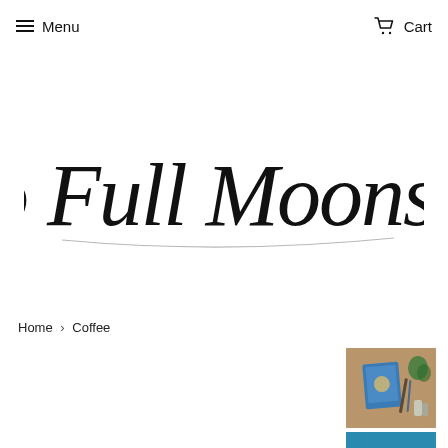Menu   Cart
[Figure (logo): Two Full Moons Art handwritten script logo in black]
Home › Coffee
[Figure (photo): Small thumbnail image showing art supplies and a blue card on a table]
[Figure (photo): Small thumbnail image showing a coffee cup from above with latte art on blue background]